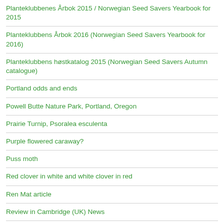Planteklubbenes Årbok 2015 / Norwegian Seed Savers Yearbook for 2015
Planteklubbens Årbok 2016 (Norwegian Seed Savers Yearbook for 2016)
Planteklubbens høstkatalog 2015 (Norwegian Seed Savers Autumn catalogue)
Portland odds and ends
Powell Butte Nature Park, Portland, Oregon
Prairie Turnip, Psoralea esculenta
Purple flowered caraway?
Puss moth
Red clover in white and white clover in red
Ren Mat article
Review in Cambridge (UK) News
Review in Norwegian newspaper Dagsavisen